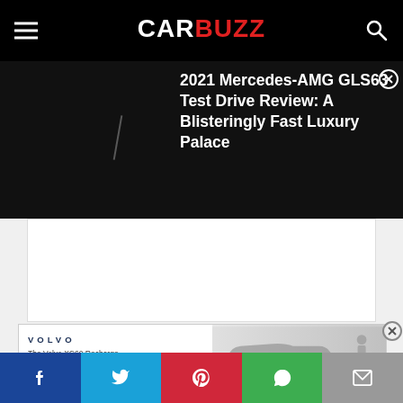CarBuzz
2021 Mercedes-AMG GLS63 Test Drive Review: A Blisteringly Fast Luxury Palace
[Figure (screenshot): White content area panel (article image area, blank/loading)]
[Figure (photo): Volvo advertisement banner showing a Volvo XC60 Recharge Plug-in Hybrid with car silhouette and person, with Volvo logo and text 'The Volvo XC60 Recharge Plug-in Hybrid']
Social share bar: Facebook, Twitter, Pinterest, WhatsApp, Email